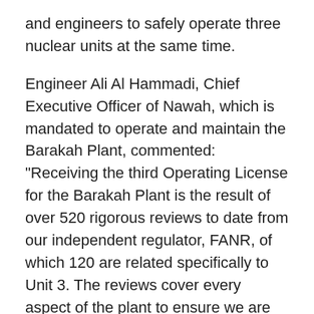and engineers to safely operate three nuclear units at the same time.
Engineer Ali Al Hammadi, Chief Executive Officer of Nawah, which is mandated to operate and maintain the Barakah Plant, commented: "Receiving the third Operating License for the Barakah Plant is the result of over 520 rigorous reviews to date from our independent regulator, FANR, of which 120 are related specifically to Unit 3. The reviews cover every aspect of the plant to ensure we are ready to operate in line with national regulatory requirements. Successfully passing these reviews is